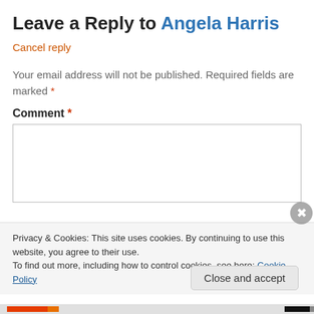Leave a Reply to Angela Harris
Cancel reply
Your email address will not be published. Required fields are marked *
Comment *
Privacy & Cookies: This site uses cookies. By continuing to use this website, you agree to their use.
To find out more, including how to control cookies, see here: Cookie Policy
Close and accept